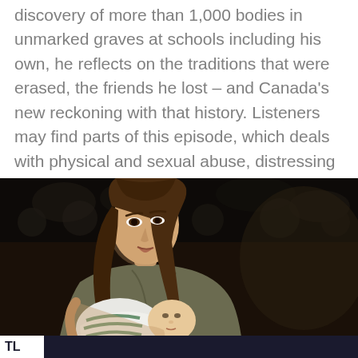discovery of more than 1,000 bodies in unmarked graves at schools including his own, he reflects on the traditions that were erased, the friends he lost – and Canada's new reckoning with that history. Listeners may find parts of this episode, which deals with physical and sexual abuse, distressing
Read More →
[Figure (photo): A woman with long brown hair holding and feeding a baby, photographed in a dimly lit indoor setting. A news ticker bar is visible at the bottom.]